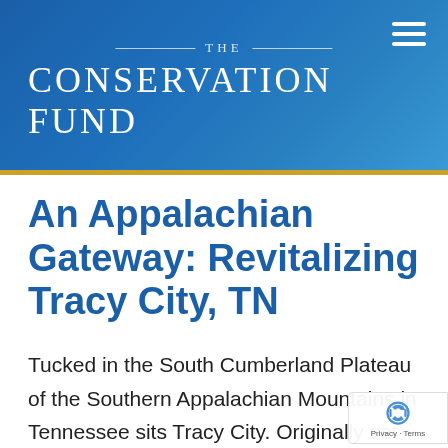THE CONSERVATION FUND
An Appalachian Gateway: Revitalizing Tracy City, TN
Tucked in the South Cumberland Plateau of the Southern Appalachian Mountains in Tennessee sits Tracy City. Originally set as a coal mining town in the 1850s, it ha suffered the effects of generation changes